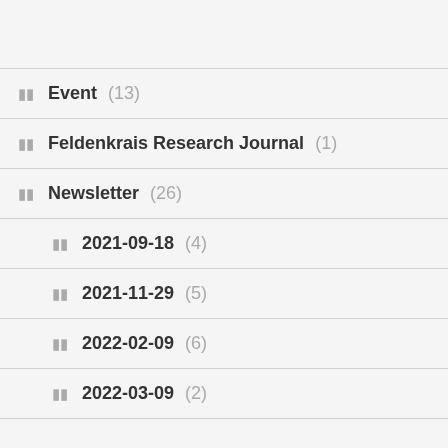Event (13)
Feldenkrais Research Journal (1)
Newsletter (26)
2021-09-18 (4)
2021-11-29 (5)
2022-02-09 (6)
2022-03-09 (2)